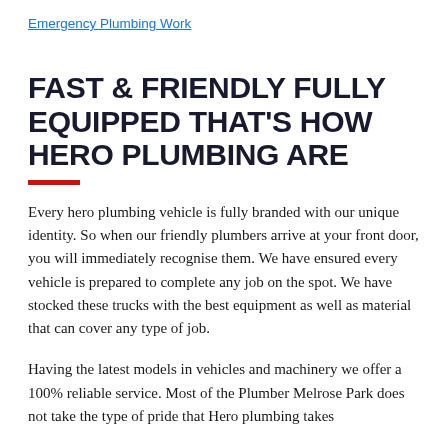Emergency Plumbing Work
FAST & FRIENDLY FULLY EQUIPPED THAT'S HOW HERO PLUMBING ARE
Every hero plumbing vehicle is fully branded with our unique identity. So when our friendly plumbers arrive at your front door, you will immediately recognise them. We have ensured every vehicle is prepared to complete any job on the spot. We have stocked these trucks with the best equipment as well as material that can cover any type of job.
Having the latest models in vehicles and machinery we offer a 100% reliable service. Most of the Plumber Melrose Park does not take the type of pride that Hero plumbing takes